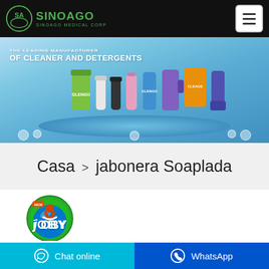SinoAgo MEDICAL Corp
[Figure (photo): Hero banner showing cleaning and detergent products on a blue platform with text 'THE LEADING MANUFACTURER OF CLEANER AND DETERGENTS']
Casa > jabonera Soaplada
[Figure (logo): JOBY brand logo - circular green logo with figure and blue text]
Chat online
WhatsApp